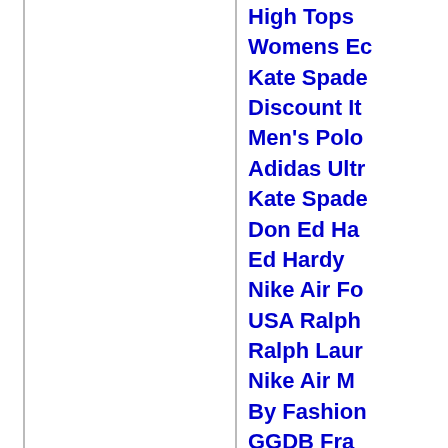High Tops
Womens Ec
Kate Spade
Discount It
Men's Polo
Adidas Ultr
Kate Spade
Don Ed Ha
Ed Hardy
Nike Air Fo
USA Ralph
Ralph Laur
Nike Air M
By Fashion
GGDB Fra
Lowest Pri
Kate Spade
Ralph Lau
USA Polo F
Air Max 72
cheap big c
Outlet Nike
Silver Por